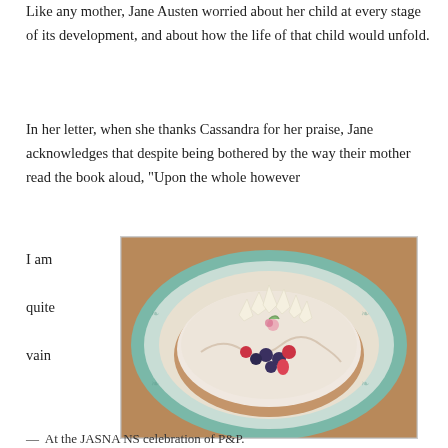Like any mother, Jane Austen worried about her child at every stage of its development, and about how the life of that child would unfold.
In her letter, when she thanks Cassandra for her praise, Jane acknowledges that despite being bothered by the way their mother read the book aloud, “Upon the whole however
I am quite vain
[Figure (photo): A decorated cake on a teal and beige patterned plate, topped with white chocolate shards and fresh berries including blueberries and raspberries, placed on a wooden surface.]
— At the JASNA NS celebration of P&P.